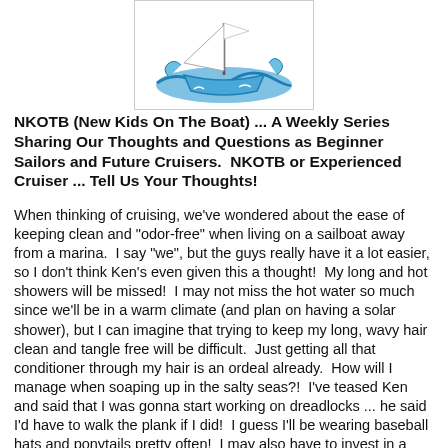[Figure (illustration): Cartoon illustration of a boat/sailboat with waves and a flag, inside a rectangular border]
NKOTB (New Kids On The Boat) ... A Weekly Series Sharing Our Thoughts and Questions as Beginner Sailors and Future Cruisers.  NKOTB or Experienced Cruiser ... Tell Us Your Thoughts!
When thinking of cruising, we've wondered about the ease of keeping clean and "odor-free" when living on a sailboat away from a marina.  I say "we", but the guys really have it a lot easier, so I don't think Ken's even given this a thought!  My long and hot showers will be missed!  I may not miss the hot water so much since we'll be in a warm climate (and plan on having a solar shower), but I can imagine that trying to keep my long, wavy hair clean and tangle free will be difficult.  Just getting all that conditioner through my hair is an ordeal already.  How will I manage when soaping up in the salty seas?!  I've teased Ken and said that I was gonna start working on dreadlocks ... he said I'd have to walk the plank if I did!  I guess I'll be wearing baseball hats and ponytails pretty often!  I may also have to invest in a bunch of leave-in